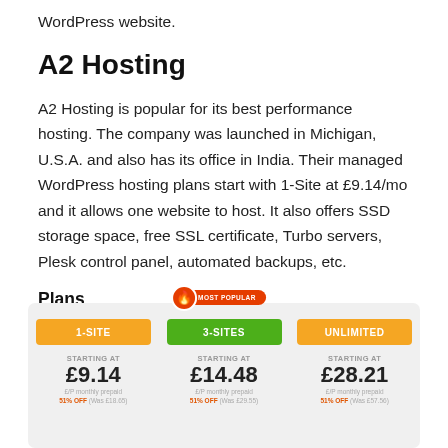WordPress website.
A2 Hosting
A2 Hosting is popular for its best performance hosting. The company was launched in Michigan, U.S.A. and also has its office in India. Their managed WordPress hosting plans start with 1-Site at £9.14/mo and it allows one website to host. It also offers SSD storage space, free SSL certificate, Turbo servers, Plesk control panel, automated backups, etc.
Plans
| 1-SITE | 3-SITES | UNLIMITED |
| --- | --- | --- |
| STARTING AT | STARTING AT | STARTING AT |
| £9.14 | £14.48 | £28.21 |
| £/P monthly prepaid | £/P monthly prepaid | £/P monthly prepaid |
| 51% OFF (Was £18.65) | 51% OFF (Was £29.55) | 51% OFF (Was £57.56) |